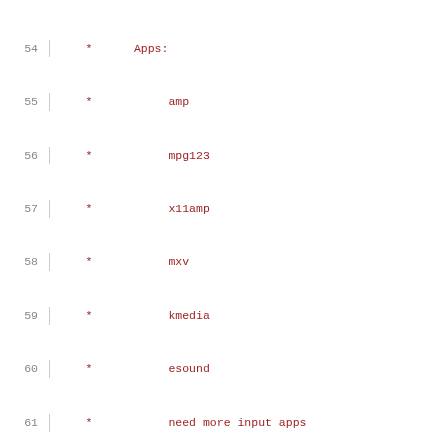Source code listing lines 54-75 showing C comment block with list of audio apps and driver section organization
54   *      Apps:
55   *           amp
56   *           mpg123
57   *           x11amp
58   *           mxv
59   *           kmedia
60   *           esound
61   *           need more input apps
62   *
63   *      Run tests while bombarding with signals
64
65   /*
66    * This driver is organized in nine sections.
67    * The nine sections are:
68    *
69    *      debug stuff
70    *      low level lithium access
71    *      high level lithium access
72    *      AD1843 access
73    *      PCM I/O
74    *      audio driver
75    *      mixer driver